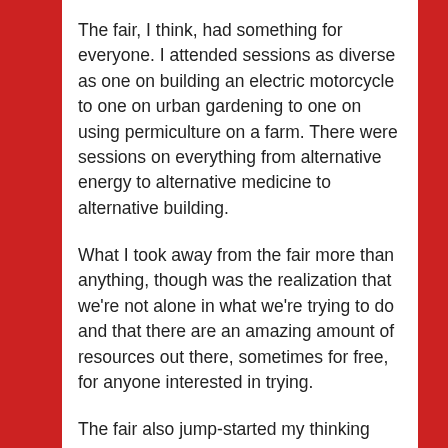The fair, I think, had something for everyone. I attended sessions as diverse as one on building an electric motorcycle to one on urban gardening to one on using permiculture on a farm. There were sessions on everything from alternative energy to alternative medicine to alternative building.
What I took away from the fair more than anything, though was the realization that we're not alone in what we're trying to do and that there are an amazing amount of resources out there, sometimes for free, for anyone interested in trying.
The fair also jump-started my thinking process, and the result will be, I hope, a series of blog posts over the next couple of weeks on things I came to realize or wonder about during my trip.
Finally, I recommend this event to anyone who cares about the future. I will post information about next year's fair as it becomes available, and in the mean time, I hope